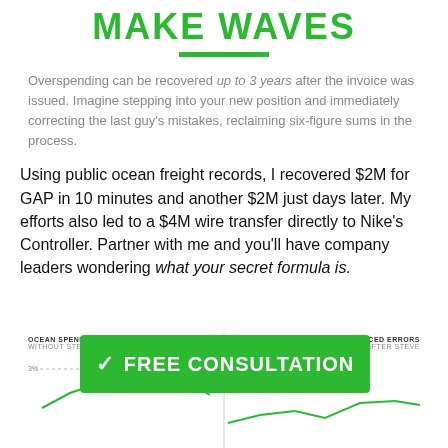MAKE WAVES
Overspending can be recovered up to 3 years after the invoice was issued. Imagine stepping into your new position and immediately correcting the last guy's mistakes, reclaiming six-figure sums in the process.
Using public ocean freight records, I recovered $2M for GAP in 10 minutes and another $2M just days later. My efforts also led to a $4M wire transfer directly to Nike's Controller. Partner with me and you'll have company leaders wondering what your secret formula is.
[Figure (line-chart): Two-panel line chart showing Ocean Spend Forced Errors without Steve (left) and after Steve (right), partially obscured by CTA button. Left panel shows higher error rates around 3%, right panel shows reduced errors.]
FREE CONSULTATION